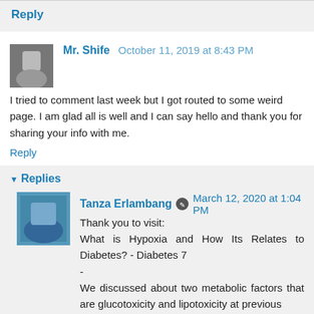Reply
Mr. Shife  October 11, 2019 at 8:43 PM
I tried to comment last week but I got routed to some weird page. I am glad all is well and I can say hello and thank you for sharing your info with me.
Reply
Replies
Tanza Erlambang  March 12, 2020 at 1:04 PM
Thank you to visit:
What is Hypoxia and How Its Relates to Diabetes? - Diabetes 7
-
We discussed about two metabolic factors that are glucotoxicity and lipotoxicity at previous article. How Biotoxicity Relates to Diabetes?